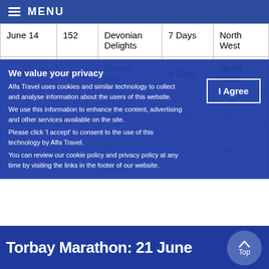MENU
| Date | Code | Tour Name | Duration | Region |
| --- | --- | --- | --- | --- |
| June 14 | 152 | Devonian Delights | 7 Days | North West |
| June 17 | 5152 | Devon and Cornwall | 5 Days | North West |
|  |  | Devon and Cornwall | 5 Days | East |
|  |  | Rivers and a Riviera | 5 Days | Midlands |
We value your privacy
Alfa Travel uses cookies and similar technology to collect and analyse information about the users of this website.
We use this information to enhance the content, advertising and other services available on the site.
Please click 'I accept' to consent to the use of this technology by Alfa Travel.
You can review our cookie policy and privacy policy at any time by visiting the links in the footer of our website.
I Agree
Torbay Marathon: 21 June